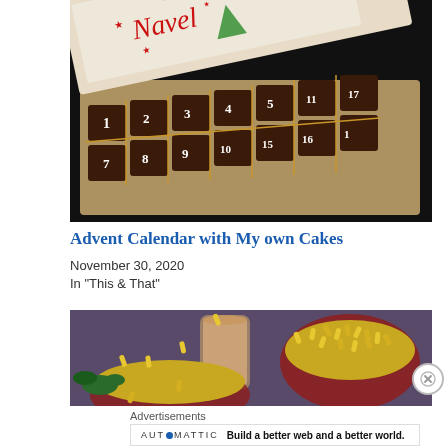[Figure (photo): Advent calendar chocolate box with numbered chocolates (1-16+) in a wooden box with decorative Christmas lid showing script text, stars, and a tree illustration]
Advent Calendar with My own Cakes
November 30, 2020
In "This & That"
[Figure (photo): Food photo showing bowls of yellow/golden snacks (bhujia or similar) with a glass of milky drink and green herbs on a purple background]
Advertisements
AUTOMATTIC
Build a better web and a better world.